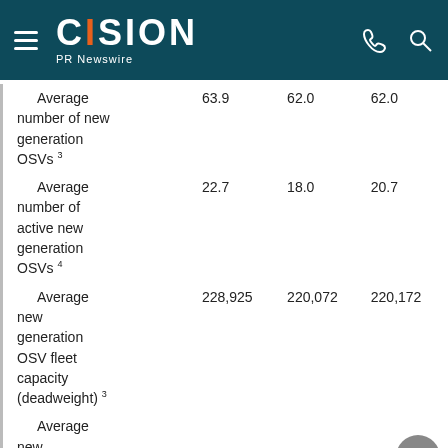CISION PR Newswire
|  |  |  |  |
| --- | --- | --- | --- |
| Average number of new generation OSVs 3 | 63.9 | 62.0 | 62.0 |
| Average number of active new generation OSVs 4 | 22.7 | 18.0 | 20.7 |
| Average new generation OSV fleet capacity (deadweight) 3 | 228,925 | 220,072 | 220,172 |
| Average new generation |  |  |  |